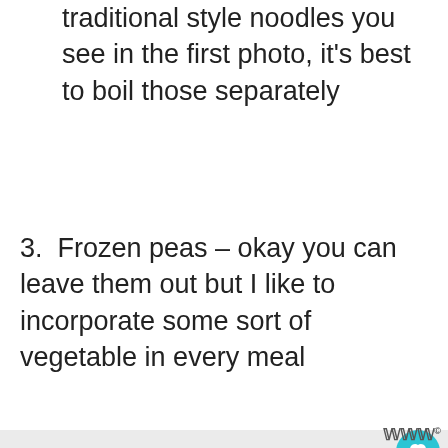traditional style noodles you see in the first photo, it's best to boil those separately
3. Frozen peas – okay you can leave them out but I like to incorporate some sort of vegetable in every meal
[Figure (screenshot): UI overlay with heart/favourite button (teal circle), share button (white circle), 'What's Next' card showing Best Instant Pot Turkey..., and an advertisement banner with grey geometric pattern and Wil logo]
[Figure (other): Grey geometric hexagon/diamond pattern advertisement banner at bottom of page]